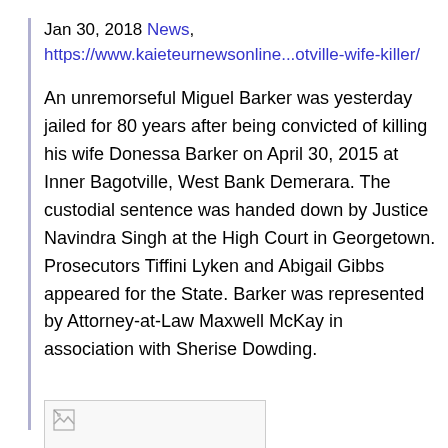Jan 30, 2018 News, https://www.kaieteurnewsonline...otville-wife-killer/
An unremorseful Miguel Barker was yesterday jailed for 80 years after being convicted of killing his wife Donessa Barker on April 30, 2015 at Inner Bagotville, West Bank Demerara. The custodial sentence was handed down by Justice Navindra Singh at the High Court in Georgetown. Prosecutors Tiffini Lyken and Abigail Gibbs appeared for the State. Barker was represented by Attorney-at-Law Maxwell McKay in association with Sherise Dowding.
[Figure (photo): Broken/unloaded image placeholder]